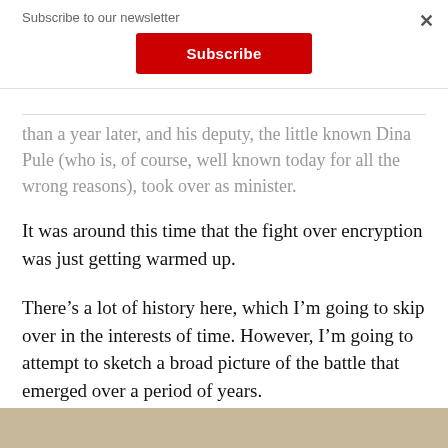Subscribe to our newsletter
Subscribe
than a year later, and his deputy, the little-known Dina Pule (who is, of course, well known today for all the wrong reasons), took over as minister.
It was around this time that the fight over encryption was just getting warmed up.
There’s a lot of history here, which I’m going to skip over in the interests of time. However, I’m going to attempt to sketch a broad picture of the battle that emerged over a period of years.
[Figure (photo): Partial view of a photo at the bottom of the page, showing a light brownish/beige background, seemingly an outdoor scene.]